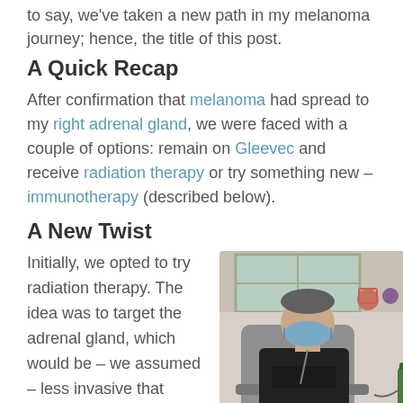to say, we've taken a new path in my melanoma journey; hence, the title of this post.
A Quick Recap
After confirmation that melanoma had spread to my right adrenal gland, we were faced with a couple of options: remain on Gleevec and receive radiation therapy or try something new – immunotherapy (described below).
A New Twist
Initially, we opted to try radiation therapy. The idea was to target the adrenal gland, which would be – we assumed – less invasive that
[Figure (photo): Person wearing a blue face mask sitting in a medical treatment chair, wearing a black t-shirt, in a clinical room with a window and an oxygen tank visible.]
Waiting on treatment